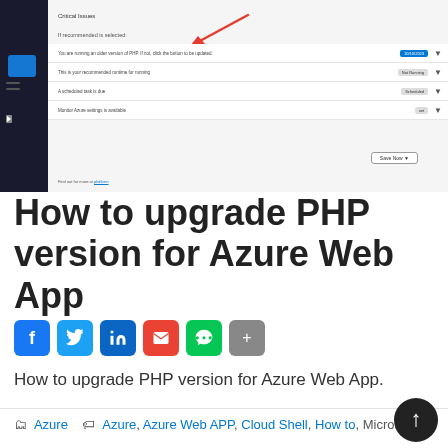[Figure (screenshot): Screenshot of Azure Portal PHP configuration page showing Critical Issues and recommended settings, with a red arrow pointing to a specific row. Rows include PHP version notice, recommended runtime, a scheduled task, and Monitor Azure settings.]
How to upgrade PHP version for Azure Web App
[Figure (infographic): Social sharing icons: Facebook, Twitter, LinkedIn, Email, Line, Share]
How to upgrade PHP version for Azure Web App.
Azure   Azure, Azure Web APP, Cloud Shell, How to, Microsoft, PHP, PowerShell, Upgrade